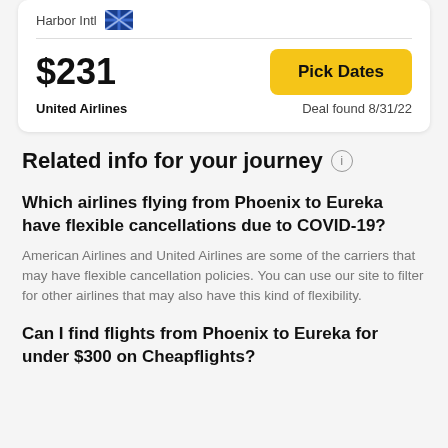Harbor Intl
$231
United Airlines
Pick Dates
Deal found 8/31/22
Related info for your journey
Which airlines flying from Phoenix to Eureka have flexible cancellations due to COVID-19?
American Airlines and United Airlines are some of the carriers that may have flexible cancellation policies. You can use our site to filter for other airlines that may also have this kind of flexibility.
Can I find flights from Phoenix to Eureka for under $300 on Cheapflights?